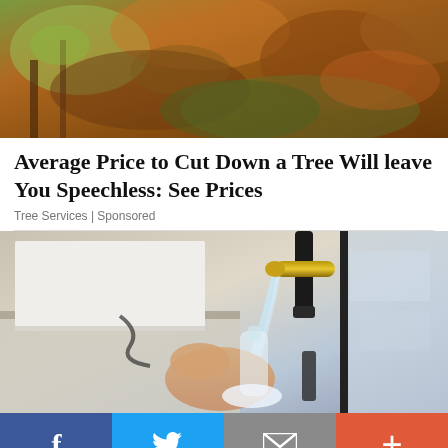[Figure (photo): Outdoor photo showing leaves and branches with reddish-brown and green foliage, top portion of page]
Average Price to Cut Down a Tree Will leave You Speechless: See Prices
Tree Services | Sponsored
[Figure (photo): Photo of a hand holding a clear glass bottle being filled with water from a gold kitchen faucet, with a window in the background]
[Figure (infographic): Social media sharing bar with Facebook (blue), Twitter (light blue), Email (gray), and More/Plus (red-orange) buttons]